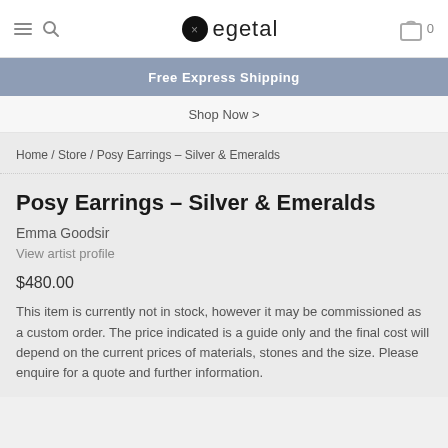egetal — 0
Free Express Shipping
Shop Now >
Home / Store / Posy Earrings – Silver & Emeralds
Posy Earrings – Silver & Emeralds
Emma Goodsir
View artist profile
$480.00
This item is currently not in stock, however it may be commissioned as a custom order. The price indicated is a guide only and the final cost will depend on the current prices of materials, stones and the size. Please enquire for a quote and further information.